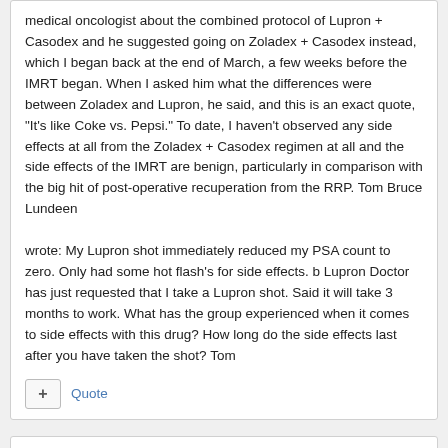medical oncologist about the combined protocol of Lupron + Casodex and he suggested going on Zoladex + Casodex instead, which I began back at the end of March, a few weeks before the IMRT began. When I asked him what the differences were between Zoladex and Lupron, he said, and this is an exact quote, "It's like Coke vs. Pepsi." To date, I haven't observed any side effects at all from the Zoladex + Casodex regimen at all and the side effects of the IMRT are benign, particularly in comparison with the big hit of post-operative recuperation from the RRP. Tom Bruce Lundeen

wrote: My Lupron shot immediately reduced my PSA count to zero. Only had some hot flash's for side effects. b Lupron Doctor has just requested that I take a Lupron shot. Said it will take 3 months to work. What has the group experienced when it comes to side effects with this drug? How long do the side effects last after you have taken the shot? Tom
Quote
Guest quest
Posted May 28, 2008